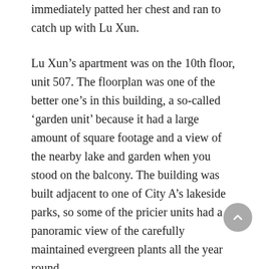immediately patted her chest and ran to catch up with Lu Xun.
Lu Xun’s apartment was on the 10th floor, unit 507. The floorplan was one of the better one’s in this building, a so-called ‘garden unit’ because it had a large amount of square footage and a view of the nearby lake and garden when you stood on the balcony. The building was built adjacent to one of City A’s lakeside parks, so some of the pricier units had a panoramic view of the carefully maintained evergreen plants all the year round.
“Your parents didn’t come to live with you even though it’s such a big house?”
“Mhm.” Lu Xun spoke as he poured a cup of tea for Qian Wei. “I bought this place myself.”